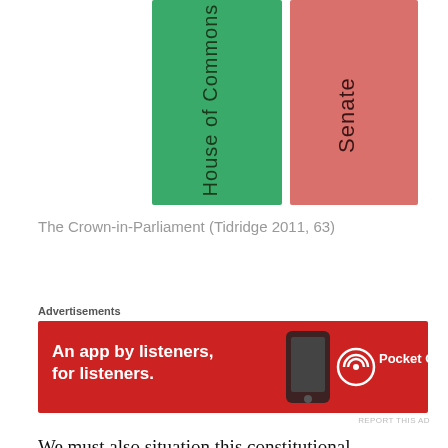[Figure (illustration): Two book spines side by side: a green one labeled 'House of Commons' (text rotated vertically) and a red/pink one labeled 'Senate' (text rotated vertically). Representing the Crown-in-Parliament diagram.]
The Crown-in-Parliament (Tidridge 2011, 63)
[Figure (other): Advertisement banner: red background with text 'An app by listeners, for listeners.' and Pocket Casts logo/branding, with a phone image.]
We must also situation this constitutional relationship between the Governor General (the crown personified) and the Prime Minister and cabinet (Crown-in-Council) to the Parliament of Canada (the Crown-in-Parliament). The